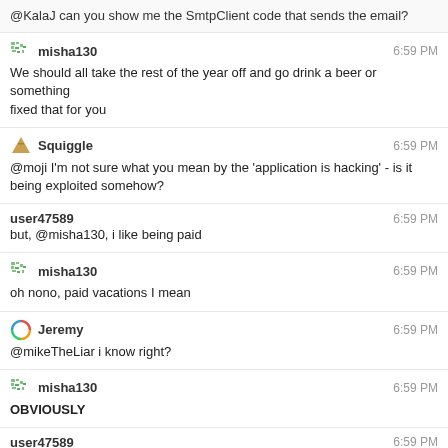@KalaJ can you show me the SmtpClient code that sends the email?
misha130 6:59 PM
We should all take the rest of the year off and go drink a beer or something
fixed that for you
Squiggle 6:59 PM
@moji I'm not sure what you mean by the 'application is hacking' - is it being exploited somehow?
user47589 6:59 PM
but, @misha130, i like being paid
misha130 6:59 PM
oh nono, paid vacations I mean
Jeremy 6:59 PM
@mikeTheLiar i know right?
misha130 6:59 PM
OBVIOUSLY
user47589 6:59 PM
i think he meant "thrashing", not "hacking"
Squiggle 6:59 PM
@ScottVMeyers ;_;
moji 6:59 PM